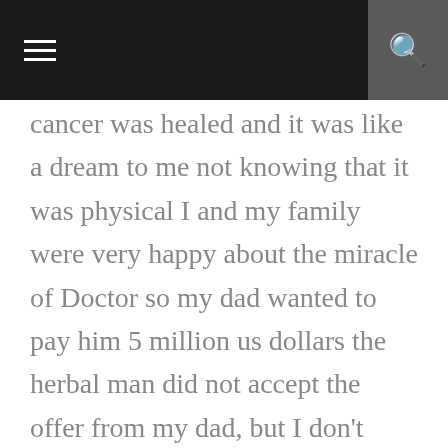navigation bar with menu and search icons
cancer was healed and it was like a dream to me not knowing that it was physical I and my family were very happy about the miracle of Doctor so my dad wanted to pay him 5 million us dollars the herbal man did not accept the offer from my dad, but I don't know why he didn't accept the offer, he only say that I should tell the world about him and his miracle he perform so am now here to tell the world about him if you or your relative is